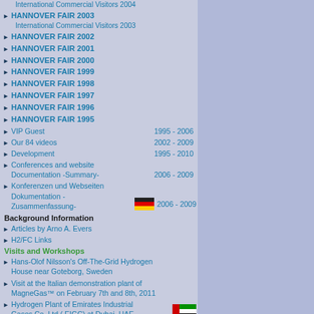International Commercial Visitors 2004
HANNOVER FAIR 2003
International Commercial Visitors 2003
HANNOVER FAIR 2002
HANNOVER FAIR 2001
HANNOVER FAIR 2000
HANNOVER FAIR 1999
HANNOVER FAIR 1998
HANNOVER FAIR 1997
HANNOVER FAIR 1996
HANNOVER FAIR 1995
VIP Guest   1995 - 2006
Our 84 videos   2002 - 2009
Development   1995 - 2010
Conferences and website Documentation -Summary-   2006 - 2009
Konferenzen und Webseiten Dokumentation - Zusammenfassung-   2006 - 2009
Background Information
Articles by Arno A. Evers
H2/FC Links
Visits and Workshops
Hans-Olof Nilsson's Off-The-Grid Hydrogen House near Goteborg, Sweden
Visit at the Italian demonstration plant of MagneGas™ on February 7th and 8th, 2011
Hydrogen Plant of Emirates Industrial Gases Co. Ltd ( EIGC) at Dubai, UAE
Huerta Solar en Tabernas, Spain, October